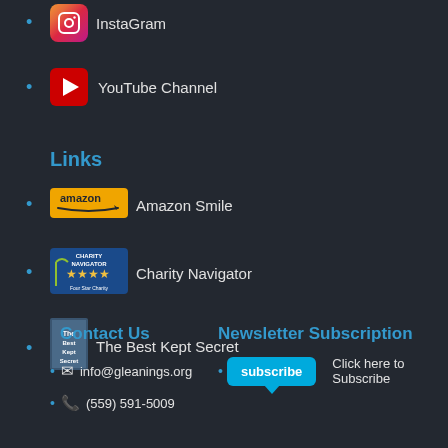InstaGram
YouTube Channel
Links
Amazon Smile
Charity Navigator
The Best Kept Secret
Contact Us
info@gleanings.org
(559) 591-5009
Newsletter Subscription
Click here to Subscribe